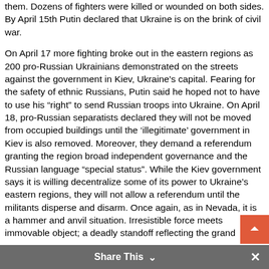them. Dozens of fighters were killed or wounded on both sides. By April 15th Putin declared that Ukraine is on the brink of civil war.

On April 17 more fighting broke out in the eastern regions as 200 pro-Russian Ukrainians demonstrated on the streets against the government in Kiev, Ukraine's capital. Fearing for the safety of ethnic Russians, Putin said he hoped not to have to use his “right” to send Russian troops into Ukraine. On April 18, pro-Russian separatists declared they will not be moved from occupied buildings until the ‘illegitimate’ government in Kiev is also removed. Moreover, they demand a referendum granting the region broad independent governance and the Russian language “special status”. While the Kiev government says it is willing decentralize some of its power to Ukraine’s eastern regions, they will not allow a referendum until the militants disperse and disarm. Once again, as in Nevada, it is a hammer and anvil situation. Irresistible force meets immovable object; a deadly standoff reflecting the grand
[Figure (other): Scroll-to-top button (orange arrow up) and Share This bar at the bottom]